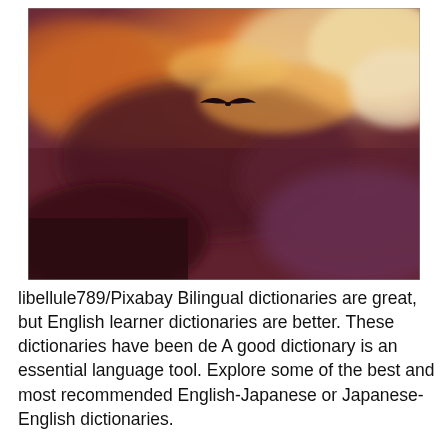[Figure (photo): A dramatic sunset or storm sky with orange, gold, and dark purple clouds. A single bird silhouette is visible flying in the upper-center area of the image.]
libellule789/Pixabay Bilingual dictionaries are great, but English learner dictionaries are better. These dictionaries have been de A good dictionary is an essential language tool. Explore some of the best and most recommended English-Japanese or Japanese-English dictionaries.